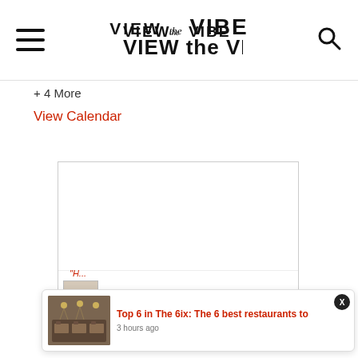VIEW the VIBE
+ 4 More
View Calendar
[Figure (screenshot): Advertisement box with Harry Styles Harry's House album promotion. 'Out Now' text in red italic, Harry Styles label, Harry's House in red italic script.]
Top 6 in The 6ix: The 6 best restaurants to
3 hours ago